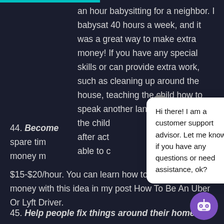an hour babysitting for a neighbor. I babysat 40 hours a week, and it was a great way to make extra money! If you have any special skills or can provide extra work, such as cleaning up around the house, teaching the child how to speak another language, picking up the child after act[ivities, you may be] able to c[harge more].
44. Become [a rideshare driver] — If you have spare tim[e and a car, driving for a ride share is a good way to make] money m[aking anywhere from] $15-$20/hour. You can learn how to make extra money with this idea in my post How To Be An Uber Or Lyft Driver.
[Figure (screenshot): Chat popup overlay with close X button and message: 'Hi there! I am a customer support advisor. Let me know if you have any questions or need assistance, ok?']
[Figure (illustration): Purple circular robot/chatbot button in bottom right corner]
45. Help people fix things around their home – If